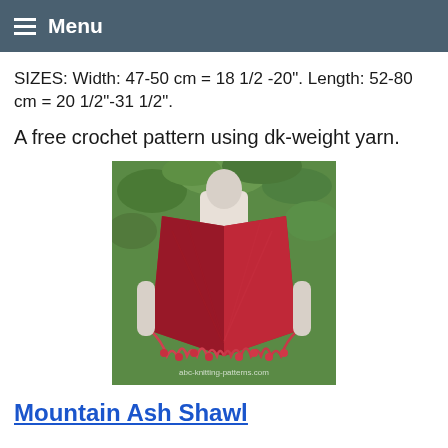Menu
SIZES: Width: 47-50 cm = 18 1/2 -20". Length: 52-80 cm = 20 1/2"-31 1/2".
A free crochet pattern using dk-weight yarn.
[Figure (photo): A mannequin wearing a red crocheted shawl with lace edging displayed outdoors with green foliage background. Watermark reads abc-knitting-patterns.com]
Mountain Ash Shawl
A free crochet pattern using light fingering-